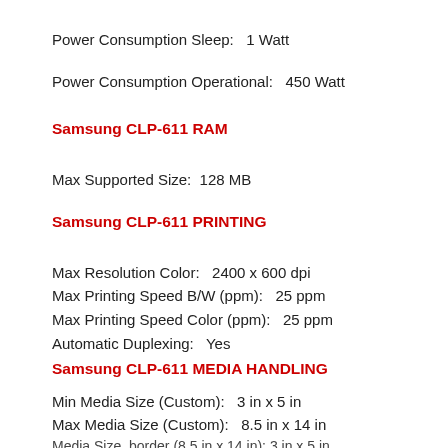Power Consumption Sleep:   1 Watt
Power Consumption Operational:   450 Watt
Samsung CLP-611 RAM
Max Supported Size:  128 MB
Samsung CLP-611 PRINTING
Max Resolution Color:   2400 x 600 dpi
Max Printing Speed B/W (ppm):   25 ppm
Max Printing Speed Color (ppm):   25 ppm
Automatic Duplexing:   Yes
Samsung CLP-611 MEDIA HANDLING
Min Media Size (Custom):   3 in x 5 in
Max Media Size (Custom):   8.5 in x 14 in
Max Media Capacity:   820 sheets
Output Trays Capacity:   100 sheets
Total Media Capacity:   300 sheets
Media Size, border (8.5 in x 14 in): 3 in x 5 in